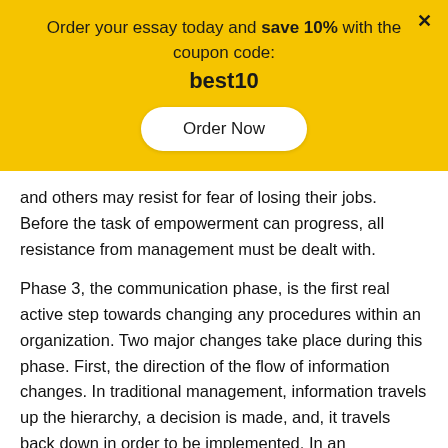Order your essay today and save 10% with the coupon code: best10
Order Now
and others may resist for fear of losing their jobs. Before the task of empowerment can progress, all resistance from management must be dealt with.
Phase 3, the communication phase, is the first real active step towards changing any procedures within an organization. Two major changes take place during this phase. First, the direction of the flow of information changes. In traditional management, information travels up the hierarchy, a decision is made, and, it travels back down in order to be implemented. In an empowered atmosphere, decision-making is made as close to the point, as possible, where the work is taking place. This leads to the second major change. In order for good decisions to be made which will benefit the organization as a whole, employees must be well informed. This leads to the expansion of information.